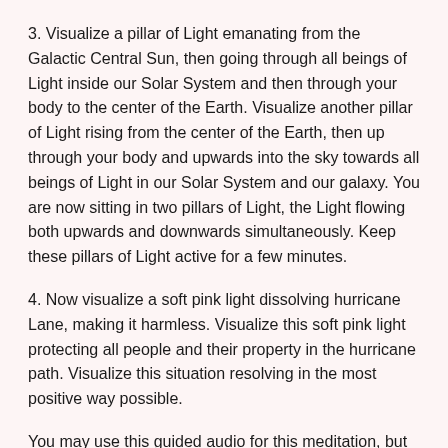3. Visualize a pillar of Light emanating from the Galactic Central Sun, then going through all beings of Light inside our Solar System and then through your body to the center of the Earth. Visualize another pillar of Light rising from the center of the Earth, then up through your body and upwards into the sky towards all beings of Light in our Solar System and our galaxy. You are now sitting in two pillars of Light, the Light flowing both upwards and downwards simultaneously. Keep these pillars of Light active for a few minutes.
4. Now visualize a soft pink light dissolving hurricane Lane, making it harmless. Visualize this soft pink light protecting all people and their property in the hurricane path. Visualize this situation resolving in the most positive way possible.
You may use this guided audio for this meditation, but replacing the word "Irma" to "Lane" in step 2 and 4 when you do the visualizations.